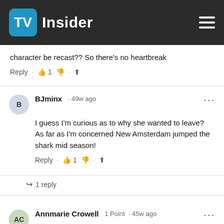TV Insider
character be recast?? So there's no heartbreak
BJminx · 49w ago — I guess I'm curious as to why she wanted to leave? As far as I'm concerned New Amsterdam jumped the shark mid season!
1 reply
Annmarie Crowell 1 Point · 45w ago — iThis is not entertainment! We've all suffered losses these last 18 months and don't need to watch TV to